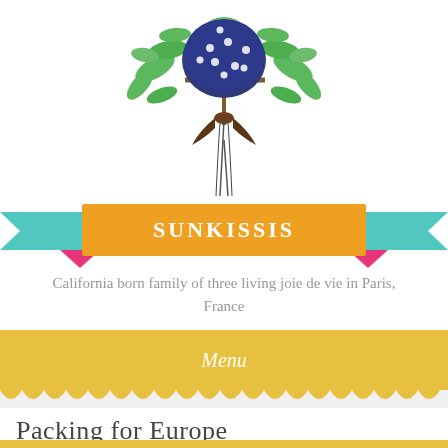[Figure (illustration): Decorative illustration of a bouquet of green leaves and a navy blue polka-dotted bird or ornament tied with a dark ribbon, hanging downward from the top of the page.]
SUNKISSIS
California born family of three living joie de vie in Paris, France
Menu
Packing for Europe